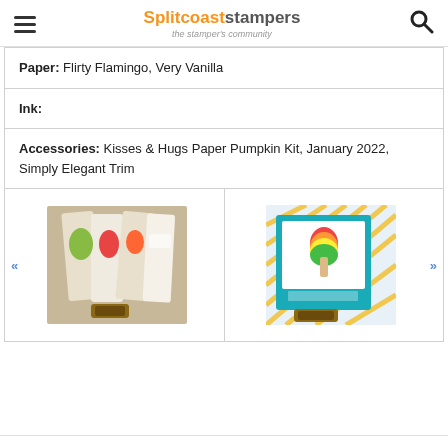Splitcoaststampers — the stamper's community
Paper: Flirty Flamingo, Very Vanilla
Ink:
Accessories: Kisses & Hugs Paper Pumpkin Kit, January 2022, Simply Elegant Trim
[Figure (photo): Accordion-fold card with fruit popsicle images and a rubber stamp]
[Figure (photo): Birthday card with rainbow popsicle image, teal frame, and rubber stamp]